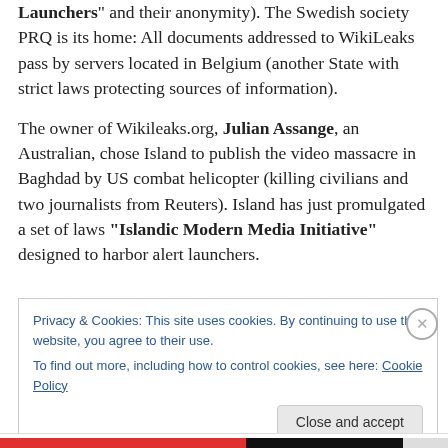Launchers" and their anonymity). The Swedish society PRQ is its home: All documents addressed to WikiLeaks pass by servers located in Belgium (another State with strict laws protecting sources of information).
The owner of Wikileaks.org, Julian Assange, an Australian, chose Island to publish the video massacre in Baghdad by US combat helicopter (killing civilians and two journalists from Reuters). Island has just promulgated a set of laws "Islandic Modern Media Initiative" designed to harbor alert launchers.
Privacy & Cookies: This site uses cookies. By continuing to use this website, you agree to their use.
To find out more, including how to control cookies, see here: Cookie Policy